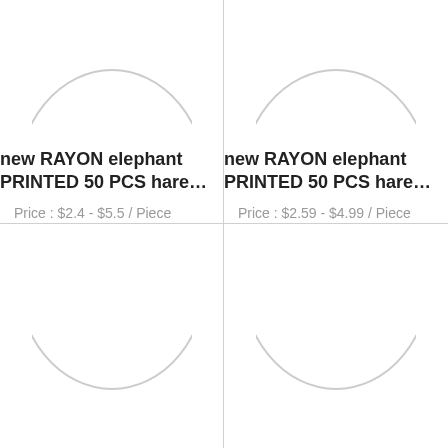[Figure (illustration): Product image placeholder - partial circle/oval outline visible at top (cropped)]
new RAYON elephant PRINTED 50 PCS hare…
Price : $2.4 - $5.5 / Piece
Min.order : 1000 Pieces
Contact Now
[Figure (illustration): Product image placeholder - partial circle/oval outline visible at top (cropped)]
new RAYON elephant PRINTED 50 PCS hare…
Price : $2.59 - $4.99 / Piece
Min.order : 3000 Pieces
Contact Now
[Figure (illustration): Product image placeholder - partial circle/oval outline visible at bottom (cropped)]
[Figure (illustration): Product image placeholder - partial circle/oval outline visible at bottom (cropped)]